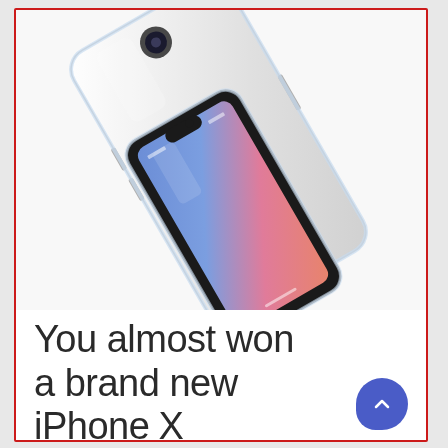[Figure (photo): Two iPhone X devices in clear cases shown at an angle — one showing the silver back with Apple logo and 'iPhone' text, another showing the front screen with blue/pink gradient wallpaper]
You almost won a brand new iPhone X